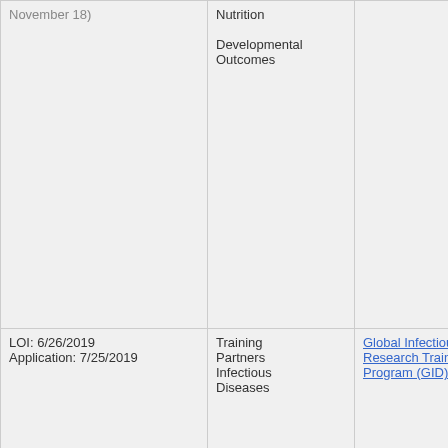| Date | Category | Program |
| --- | --- | --- |
| November 18) | Nutrition

Developmental Outcomes |  |
| LOI: 6/26/2019
Application: 7/25/2019 | Training Partners
Infectious Diseases | Global Infectious Research Training Program (GID) ... |
| LOI: 6/26/2019 | Training | Planning Grant ... |